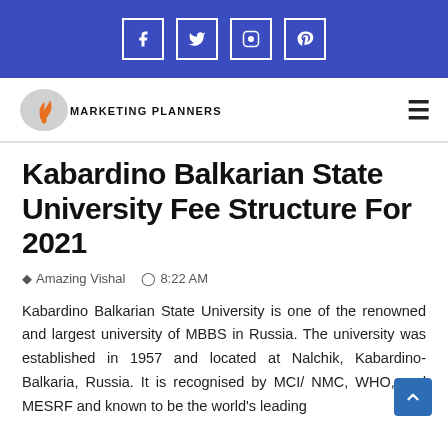Social icons: Facebook, Twitter, Instagram, Pinterest
[Figure (logo): Marketing Planners logo with orange flame/figure icon and text MARKETING PLANNERS]
Kabardino Balkarian State University Fee Structure For 2021
Amazing Vishal   8:22 AM
Kabardino Balkarian State University is one of the renowned and largest university of MBBS in Russia. The university was established in 1957 and located at Nalchik, Kabardino- Balkaria, Russia. It is recognised by MCI/ NMC, WHO, and MESRF and known to be the world's leading